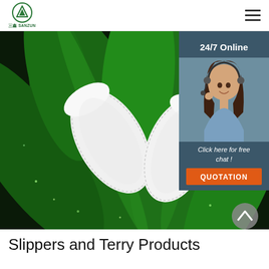SANZUN logo and navigation hamburger menu
[Figure (photo): Hero image of white hotel slippers on a dark green tropical leaf background, with a 24/7 online customer service overlay on the right side featuring a female customer service representative wearing a headset, text '24/7 Online', 'Click here for free chat!', and an orange 'QUOTATION' button]
Slippers and Terry Products